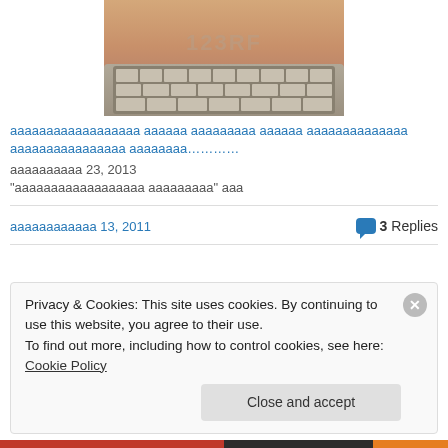[Figure (photo): Torso of a person holding a computer keyboard in front of their body, with a watermark visible on the skin]
ааааааааааааааа ааааа аааааааа аааааа ааааааааааааа аааааааааааааа аааааа…………
ааааааааа 23, 2013
"аааааааааааааа аааааа" ааа
аааааааааа 13, 2011   💬 3 Replies
Privacy & Cookies: This site uses cookies. By continuing to use this website, you agree to their use.
To find out more, including how to control cookies, see here: Cookie Policy
Close and accept